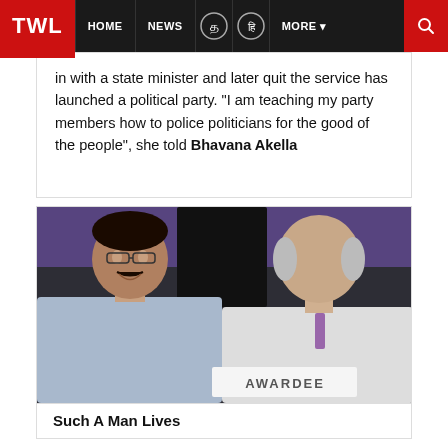TWL | HOME | NEWS | MORE
in with a state minister and later quit the service has launched a political party. “I am teaching my party members how to police politicians for the good of the people”, she told Bhavana Akella
[Figure (photo): Two men at an award ceremony, one younger smiling man in glasses and a light blue shirt, one older man in white shirt with tie. A placard reading AWARDEE is visible in front.]
Such A Man Lives